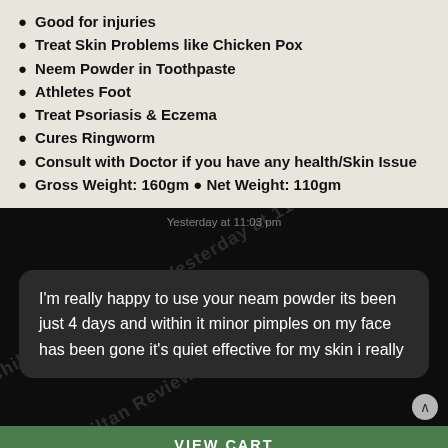Good for injuries
Treat Skin Problems like Chicken Pox
Neem Powder in Toothpaste
Athletes Foot
Treat Psoriasis & Eczema
Cures Ringworm
Consult with Doctor if you have any health/Skin Issue
Gross Weight: 160gm ● Net Weight: 110gm
[Figure (screenshot): Dark background screenshot of a customer review bubble with watermark text 'Chillan Reviews'. The review reads: I'm really happy to use your neam powder its been just 4 days and within it minor pimples on my face has been gone it's quiet effective for my skin i really...]
VIEW CART
"Ashoo Powder – Release Stress & Boosts Energy [اشوگندها]" has been added to your cart.